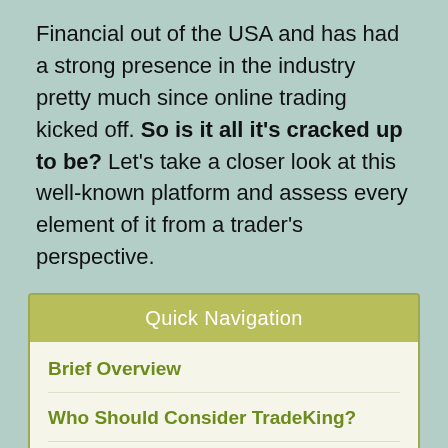Financial out of the USA and has had a strong presence in the industry pretty much since online trading kicked off. So is it all it's cracked up to be? Let's take a closer look at this well-known platform and assess every element of it from a trader's perspective.
Quick Navigation
Brief Overview
Who Should Consider TradeKing?
Likes & Dislikes
Investment Offerings